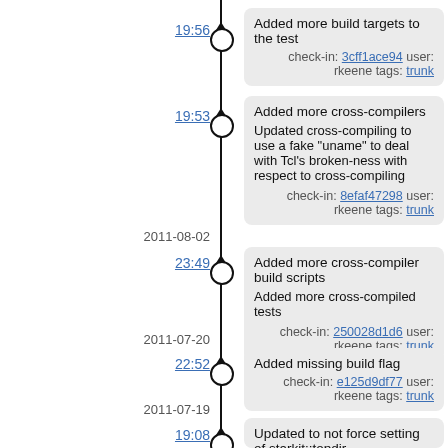19:56
Added more build targets to the test
check-in: 3cff1ace94 user: rkeene tags: trunk
19:53
Added more cross-compilers
Updated cross-compiling to use a fake "uname" to deal with Tcl's broken-ness with respect to cross-compiling
check-in: 8efaf47298 user: rkeene tags: trunk
2011-08-02
23:49
Added more cross-compiler build scripts
Added more cross-compiled tests
check-in: 250028d1d6 user: rkeene tags: trunk
2011-07-20
22:52
Added missing build flag
check-in: e125d9df77 user: rkeene tags: trunk
2011-07-19
19:08
Updated to not force setting of starkit::topdir,